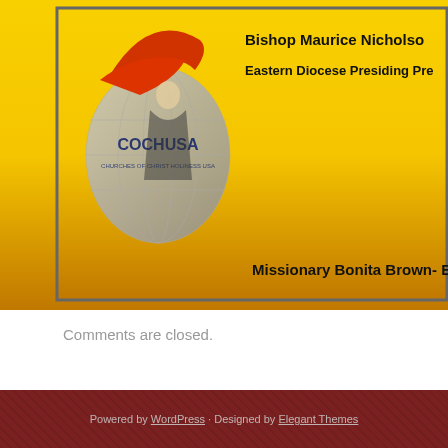[Figure (infographic): Church banner with yellow/gold gradient background, COCHUSA logo on left, bishop and missionary names on right and bottom. Logo shows a stylized figure with red hat on a grey globe shape.]
Comments are closed.
Powered by WordPress · Designed by Elegant Themes